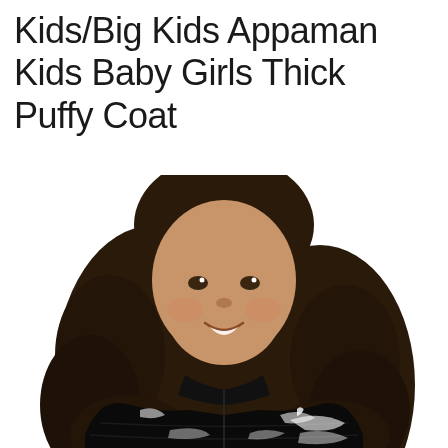Kids/Big Kids Appaman Kids Baby Girls Thick Puffy Coat
[Figure (photo): A young girl with long curly dark brown hair, smiling, wearing a shiny black puffy coat. White background. Product photo for kids apparel.]